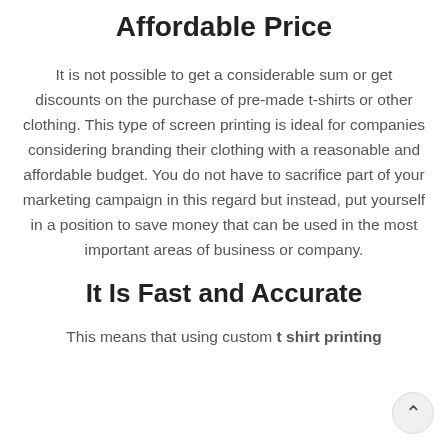Affordable Price
It is not possible to get a considerable sum or get discounts on the purchase of pre-made t-shirts or other clothing. This type of screen printing is ideal for companies considering branding their clothing with a reasonable and affordable budget. You do not have to sacrifice part of your marketing campaign in this regard but instead, put yourself in a position to save money that can be used in the most important areas of business or company.
It Is Fast and Accurate
This means that using custom t shirt printing